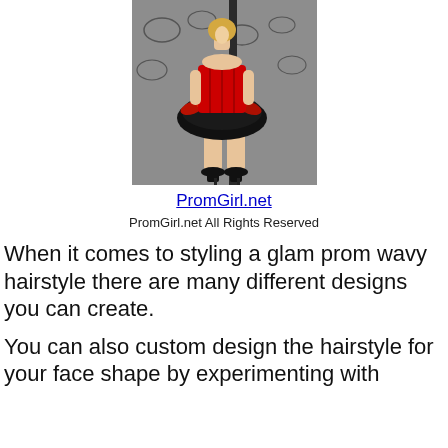[Figure (photo): Woman wearing a red and black feathered prom dress with red corset top and black high heels, standing against a decorative grey background.]
PromGirl.net
PromGirl.net All Rights Reserved
When it comes to styling a glam prom wavy hairstyle there are many different designs you can create.
You can also custom design the hairstyle for your face shape by experimenting with